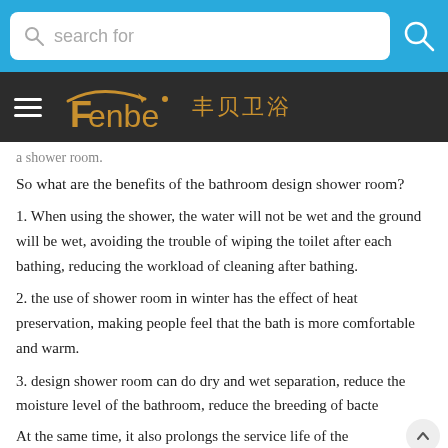search for
[Figure (logo): Fenbe logo with Chinese characters 丰贝卫浴 on dark background with hamburger menu]
a shower room.
So what are the benefits of the bathroom design shower room?
1. When using the shower, the water will not be wet and the ground will be wet, avoiding the trouble of wiping the toilet after each bathing, reducing the workload of cleaning after bathing.
2. the use of shower room in winter has the effect of heat preservation, making people feel that the bath is more comfortable and warm.
3. design shower room can do dry and wet separation, reduce the moisture level of the bathroom, reduce the breeding of bacte
At the same time, it also prolongs the service life of the